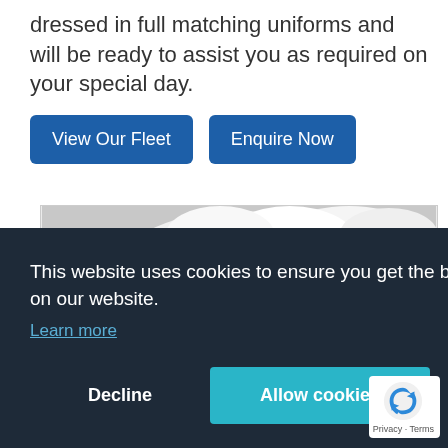dressed in full matching uniforms and will be ready to assist you as required on your special day.
View Our Fleet | Enquire Now
[Figure (photo): Black and white photograph of a building rooftop with dramatic cloudy sky and a street scene visible to the right]
This website uses cookies to ensure you get the best experience on our website.
Learn more
Decline   Allow cookies